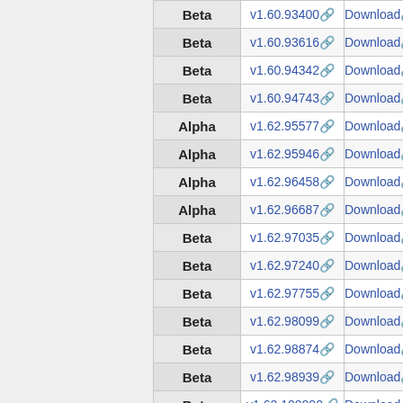| Type | Version | Action |
| --- | --- | --- |
| Beta | v1.60.93400 | Download |
| Beta | v1.60.93616 | Download |
| Beta | v1.60.94342 | Download |
| Beta | v1.60.94743 | Download |
| Alpha | v1.62.95577 | Download |
| Alpha | v1.62.95946 | Download |
| Alpha | v1.62.96458 | Download |
| Alpha | v1.62.96687 | Download |
| Beta | v1.62.97035 | Download |
| Beta | v1.62.97240 | Download |
| Beta | v1.62.97755 | Download |
| Beta | v1.62.98099 | Download |
| Beta | v1.62.98874 | Download |
| Beta | v1.62.98939 | Download |
| Beta | v1.62.100000 | Download |
| Beta | v1.62.101906 | Download |